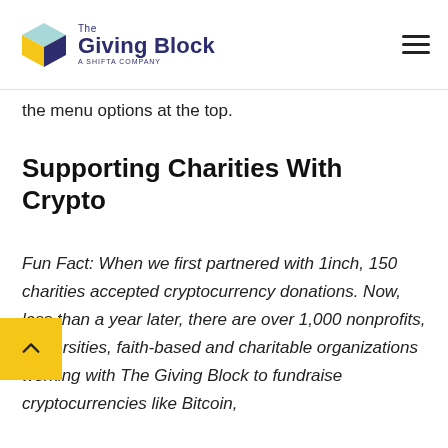The Giving Block — A Shifta Company
the menu options at the top.
Supporting Charities With Crypto
Fun Fact: When we first partnered with 1inch, 150 charities accepted cryptocurrency donations. Now, less than a year later, there are over 1,000 nonprofits, universities, faith-based and charitable organizations working with The Giving Block to fundraise cryptocurrencies like Bitcoin,